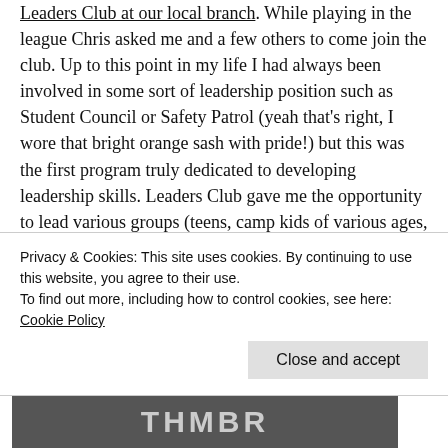Leaders Club at our local branch. While playing in the league Chris asked me and a few others to come join the club. Up to this point in my life I had always been involved in some sort of leadership position such as Student Council or Safety Patrol (yeah that's right, I wore that bright orange sash with pride!) but this was the first program truly dedicated to developing leadership skills. Leaders Club gave me the opportunity to lead various groups (teens, camp kids of various ages, even adults when I refereed adult flag football). One of the greatest things that this program allowed me to do was to really learn how to build and foster a community from the inside
Privacy & Cookies: This site uses cookies. By continuing to use this website, you agree to their use.
To find out more, including how to control cookies, see here: Cookie Policy
[Figure (screenshot): Bottom portion of a dark image showing partially visible bold white text, appears to be a heading or banner image]